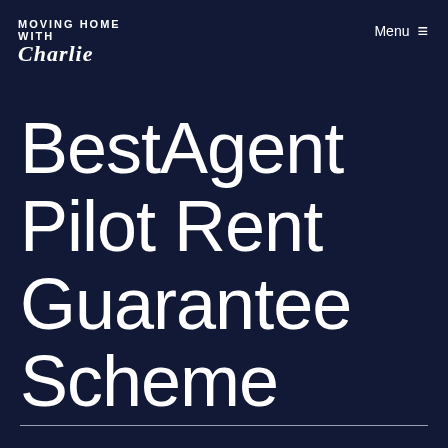MOVING HOME WITH CHARLIE
Menu ≡
BestAgent Pilot Rent Guarantee Scheme